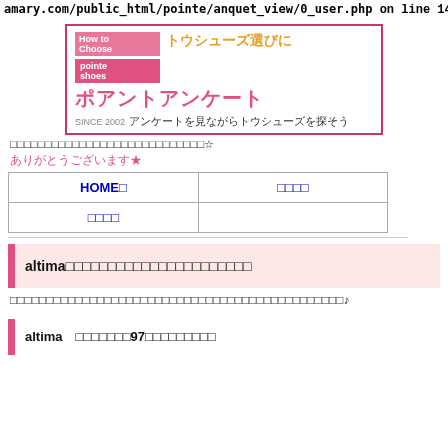amary.com/public_html/pointe/anquet_view/0_user.php on line 14
[Figure (illustration): Banner image for a Japanese pointe shoe survey website. Pink border box with Japanese text トウシューズ選びに (Choosing pointe shoes), ポアントアンケート (Pointe Survey) in pink, SINCE 2002, アンケートを見ながらトウシューズを探そう (Find pointe shoes while looking at the survey), and an illustration of a ballerina.]
□□□□□□□□□□□□□□□□□□□□□□□□□□□□☆
ありがとうございます★
| HOME□ | □□□□ |
| --- | --- |
| □□□□ |  |
altima□□□□□□□□□□□□□□□□□□□□□□
□□□□□□□□□□□□□□□□□□□□□□□□□□□□□□□□□□□□□□□□□□□□□□♪
altima　□□□□□□□97□□□□□□□□□